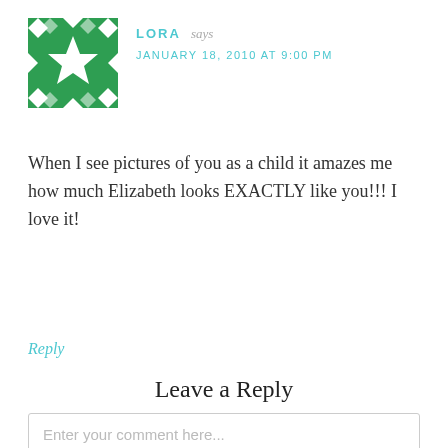[Figure (illustration): Green geometric mosaic/quilt-pattern avatar image for user Lora]
LORA says
JANUARY 18, 2010 AT 9:00 PM
When I see pictures of you as a child it amazes me how much Elizabeth looks EXACTLY like you!!! I love it!
Reply
Leave a Reply
Enter your comment here...